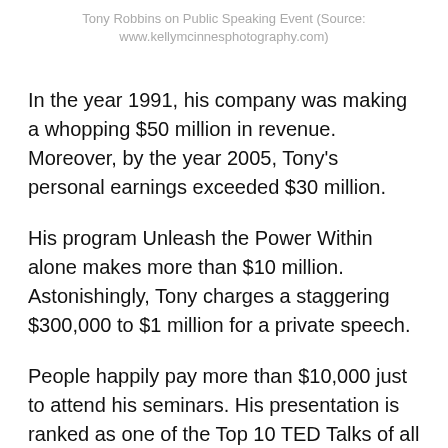Tony Robbins on Public Speaking Event (Source: www.kellymcinnesphotography.com)
In the year 1991, his company was making a whopping $50 million in revenue. Moreover, by the year 2005, Tony's personal earnings exceeded $30 million.
His program Unleash the Power Within alone makes more than $10 million. Astonishingly, Tony charges a staggering $300,000 to $1 million for a private speech.
People happily pay more than $10,000 just to attend his seminars. His presentation is ranked as one of the Top 10 TED Talks of all time.